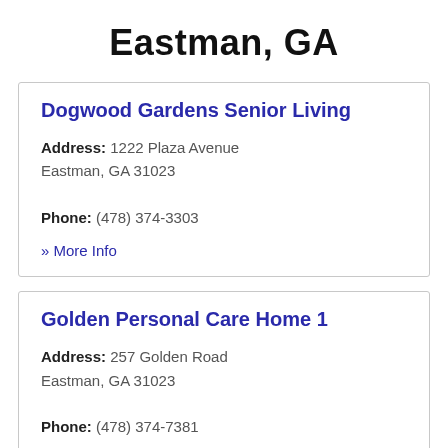Eastman, GA
Dogwood Gardens Senior Living
Address: 1222 Plaza Avenue Eastman, GA 31023
Phone: (478) 374-3303
» More Info
Golden Personal Care Home 1
Address: 257 Golden Road Eastman, GA 31023
Phone: (478) 374-7381
» More Info